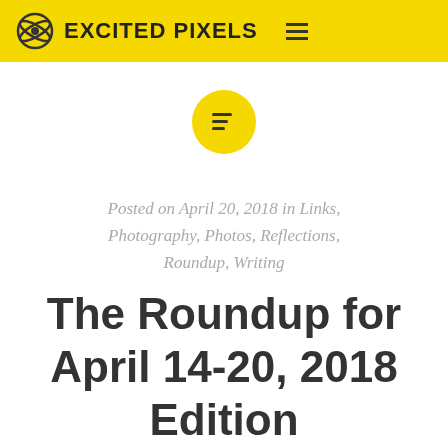EXCITED PIXELS
[Figure (logo): Yellow circular icon with text-align/menu lines symbol representing blog category]
Posted on April 20, 2018 in Links, Photography, Photos, Reflections, Roundup, Writing
The Roundup for April 14-20, 2018 Edition